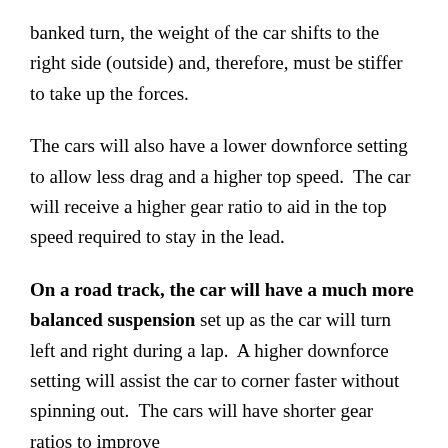banked turn, the weight of the car shifts to the right side (outside) and, therefore, must be stiffer to take up the forces.
The cars will also have a lower downforce setting to allow less drag and a higher top speed.  The car will receive a higher gear ratio to aid in the top speed required to stay in the lead.
On a road track, the car will have a much more balanced suspension set up as the car will turn left and right during a lap.  A higher downforce setting will assist the car to corner faster without spinning out.  The cars will have shorter gear ratios to improve